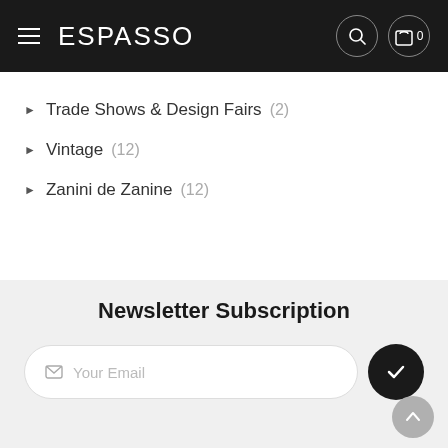ESPASSO
Trade Shows & Design Fairs (2)
Vintage (12)
Zanini de Zanine (12)
Newsletter Subscription
Your Email